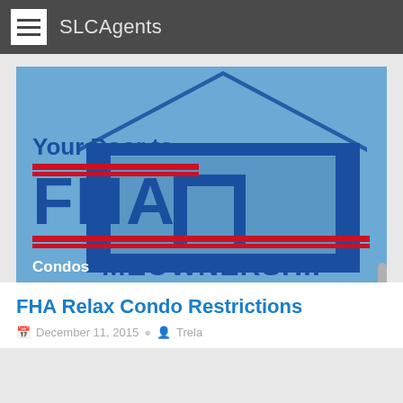SLCAgents
[Figure (illustration): FHA Meownership promotional graphic. Blue background with large 'FHA' text and a house icon outline. Text reads 'Your Door to FHA Condos MEOWNERSHIP' with two red horizontal lines.]
FHA Relax Condo Restrictions
December 11, 2015  Trela